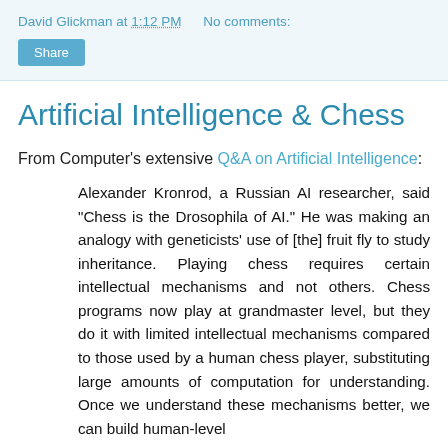David Glickman at 1:12 PM   No comments:
Share
Artificial Intelligence & Chess
From Computer's extensive Q&A on Artificial Intelligence:
Alexander Kronrod, a Russian AI researcher, said "Chess is the Drosophila of AI." He was making an analogy with geneticists' use of [the] fruit fly to study inheritance. Playing chess requires certain intellectual mechanisms and not others. Chess programs now play at grandmaster level, but they do it with limited intellectual mechanisms compared to those used by a human chess player, substituting large amounts of computation for understanding. Once we understand these mechanisms better, we can build human-level